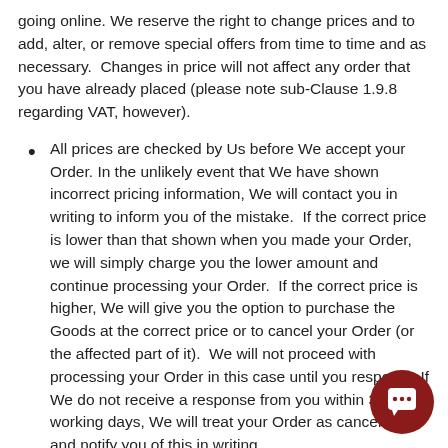going online. We reserve the right to change prices and to add, alter, or remove special offers from time to time and as necessary.  Changes in price will not affect any order that you have already placed (please note sub-Clause 1.9.8 regarding VAT, however).
All prices are checked by Us before We accept your Order. In the unlikely event that We have shown incorrect pricing information, We will contact you in writing to inform you of the mistake.  If the correct price is lower than that shown when you made your Order, we will simply charge you the lower amount and continue processing your Order.  If the correct price is higher, We will give you the option to purchase the Goods at the correct price or to cancel your Order (or the affected part of it).  We will not proceed with processing your Order in this case until you respond.  If We do not receive a response from you within 3 working days, We will treat your Order as cancelled and notify you of this in writing.
In the event that the price of Goods you have ordered changes between your Order being placed and Us processing that Order and taking payment,